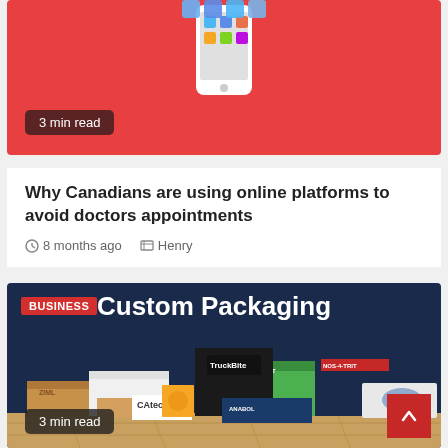[Figure (illustration): Red background card with phone/app illustration at top and '3 min read' badge]
Why Canadians are using online platforms to avoid doctors appointments
8 months ago   Henry
[Figure (photo): Dark navy background card showing 'BUSINESS Custom Packaging' heading with photo of various custom packaging boxes and products on a wooden floor, and '3 min read' badge]